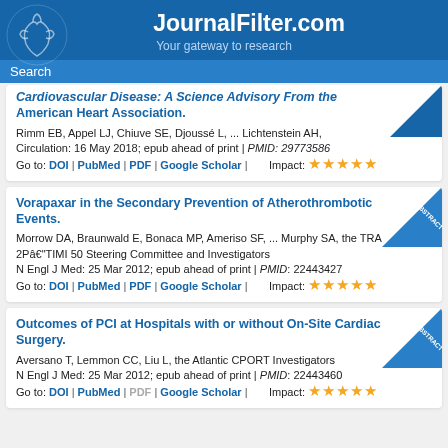JournalFilter.com — Your gateway to research
Search
Cardiovascular Disease: A Science Advisory From the American Heart Association. Rimm EB, Appel LJ, Chiuve SE, Djoussé L, ... Lichtenstein AH, Circulation: 16 May 2018; epub ahead of print | PMID: 29773586 Go to: DOI | PubMed | PDF | Google Scholar | Impact: ★★★★★
Vorapaxar in the Secondary Prevention of Atherothrombotic Events. Morrow DA, Braunwald E, Bonaca MP, Ameriso SF, ... Murphy SA, the TRA 2P–TIMI 50 Steering Committee and Investigators N Engl J Med: 25 Mar 2012; epub ahead of print | PMID: 22443427 Go to: DOI | PubMed | PDF | Google Scholar | Impact: ★★★★★
Outcomes of PCI at Hospitals with or without On-Site Cardiac Surgery. Aversano T, Lemmon CC, Liu L, the Atlantic CPORT Investigators N Engl J Med: 25 Mar 2012; epub ahead of print | PMID: 22443460 Go to: DOI | PubMed | PDF | Google Scholar | Impact: ★★★★★